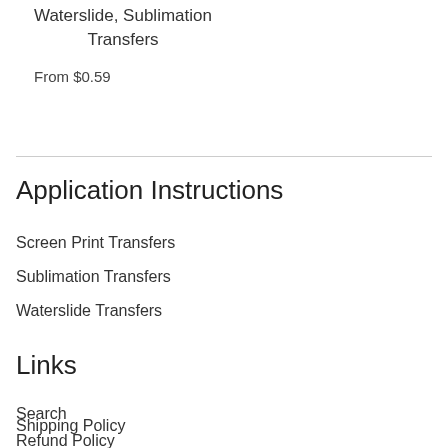Waterslide, Sublimation Transfers
From $0.59
Application Instructions
Screen Print Transfers
Sublimation Transfers
Waterslide Transfers
Links
Search
Shipping Policy
Refund Policy